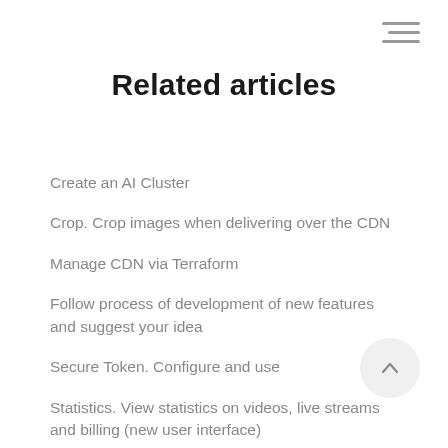[Figure (other): Hamburger menu icon (three horizontal lines) in top-right corner]
Related articles
Create an AI Cluster
Crop. Crop images when delivering over the CDN
Manage CDN via Terraform
Follow process of development of new features and suggest your idea
Secure Token. Configure and use
Statistics. View statistics on videos, live streams and billing (new user interface)
[Figure (other): Back to top button — circular button with upward chevron arrow]